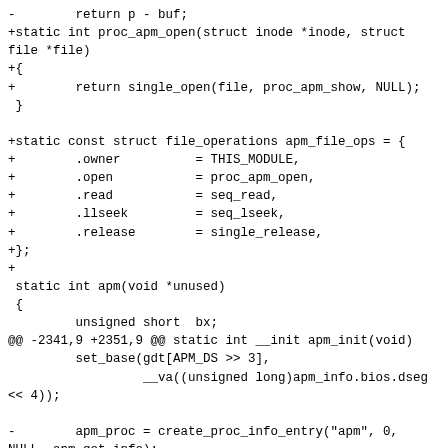-        return p - buf;
+static int proc_apm_open(struct inode *inode, struct file *file)
+{
+        return single_open(file, proc_apm_show, NULL);
 }

+static const struct file_operations apm_file_ops = {
+        .owner          = THIS_MODULE,
+        .open           = proc_apm_open,
+        .read           = seq_read,
+        .llseek         = seq_lseek,
+        .release        = single_release,
+};
+
 static int apm(void *unused)
 {
         unsigned short  bx;
@@ -2341,9 +2351,9 @@ static int __init apm_init(void)
         set_base(gdt[APM_DS >> 3],
                  __va((unsigned long)apm_info.bios.dseg << 4));

-        apm_proc = create_proc_info_entry("apm", 0, NULL, apm_get_info);
+        apm_proc = create_proc_entry("apm", 0, NULL);
         if (apm_proc)
-                apm_proc->owner = THIS_MODULE;
+                apm_proc->proc_fops = &apm_file_ops;